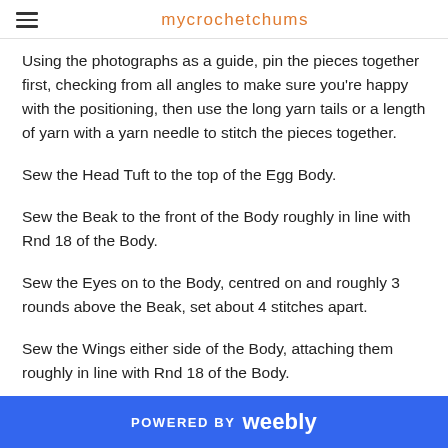mycrochetchums
Using the photographs as a guide, pin the pieces together first, checking from all angles to make sure you're happy with the positioning, then use the long yarn tails or a length of yarn with a yarn needle to stitch the pieces together.
Sew the Head Tuft to the top of the Egg Body.
Sew the Beak to the front of the Body roughly in line with Rnd 18 of the Body.
Sew the Eyes on to the Body, centred on and roughly 3 rounds above the Beak, set about 4 stitches apart.
Sew the Wings either side of the Body, attaching them roughly in line with Rnd 18 of the Body.
POWERED BY weebly